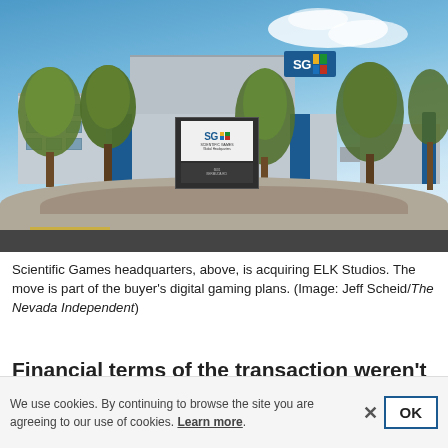[Figure (photo): Exterior photo of Scientific Games Global Headquarters building in Las Vegas, with SG logo on building and monument sign in foreground landscaped island, blue sky with clouds, trees around building.]
Scientific Games headquarters, above, is acquiring ELK Studios. The move is part of the buyer's digital gaming plans. (Image: Jeff Scheid/The Nevada Independent)
Financial terms of the transaction weren't disclosed. The